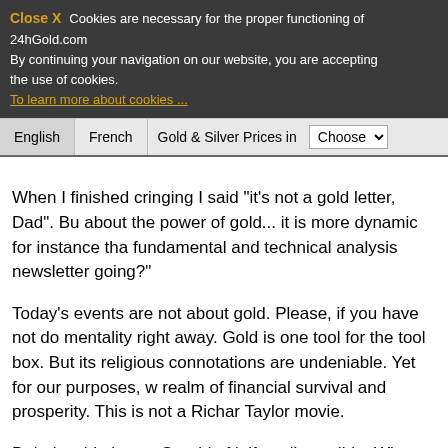Close X  Cookies are necessary for the proper functioning of 24hGold.co. By continuing your navigation on our website, you are accepting the use of cookies. To learn more about cookies ...
English | French | Gold & Silver Prices in | Choose
When I finished cringing I said "it's not a gold letter, Dad". Bu about the power of gold... it is more dynamic for instance tha fundamental and technical analysis newsletter going?"
Today's events are not about gold. Please, if you have not do mentality right away. Gold is one tool for the tool box. But its religious connotations are undeniable. Yet for our purposes, w realm of financial survival and prosperity. This is not a Richar Taylor movie.
Debt is a big issue. Get rid of it if at all possible. When the sy and keels over, it is probably wise not to be tied to it with too denominated in a failing currency. Inflationists say 'the more d government will just inflate it away'. But they forget that there Yang in play to inflation's Yin. Gold and debt elimination, that
How about property of value... like open space, farmland or t to McMansions clustered tightly with so many others? I know